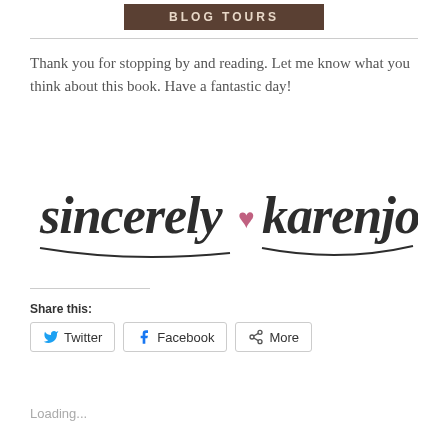[Figure (logo): Blog Tours banner logo with dark brown/chocolate background and light text reading BLOG TOURS]
Thank you for stopping by and reading. Let me know what you think about this book. Have a fantastic day!
[Figure (illustration): Handwritten cursive signature reading 'sincerely karenjo' with a pink heart between the two words]
Share this:
Twitter   Facebook   More
Loading...